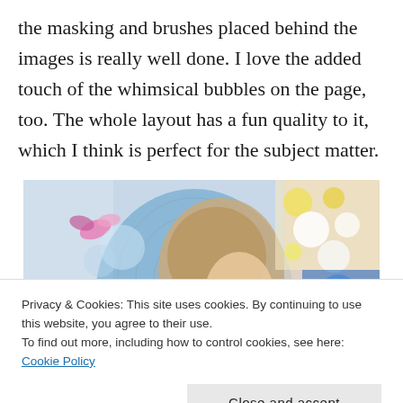the masking and brushes placed behind the images is really well done. I love the added touch of the whimsical bubbles on the page, too. The whole layout has a fun quality to it, which I think is perfect for the subject matter.
[Figure (photo): A colorful digital scrapbook collage showing a young child's face partially visible, surrounded by decorative elements including butterflies, bokeh/bubble effects, floral patterns, polka dots, and blue fish motifs on a light blue background.]
Privacy & Cookies: This site uses cookies. By continuing to use this website, you agree to their use.
To find out more, including how to control cookies, see here: Cookie Policy
Close and accept